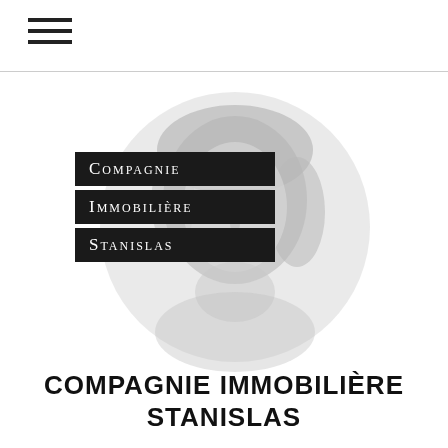[Figure (logo): Hamburger menu icon (three horizontal lines) in the top-left header area]
[Figure (logo): Circular engraving-style portrait of Stanislas Leszczynski overlaid with a black text box logo reading 'Compagnie Immobilière Stanislas' in small-caps white serif text on black background]
COMPAGNIE IMMOBILIÈRE STANISLAS